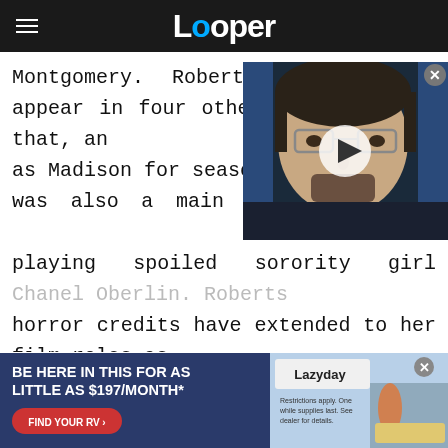Looper
Montgomery. Roberts went on to appear in four other seasons after that, and reprised her role as Madison for season eight. Roberts was also a main cast member of "Scream Queens," playing spoiled sorority girl Chanel Oberlin. Roberts' horror credits have extended to her film roles as well. She has had starring roles in films like "Scream 4," "The Hunt," and "The Blackcoat's Daughter."
[Figure (screenshot): Video overlay thumbnail showing a man with glasses against a blue background, with a play button in the center and a close button in the top right corner.]
[Figure (photo): Advertisement banner for Lazyday RV: 'BE HERE IN THIS FOR AS LITTLE AS $197/MONTH*' with a red 'FIND YOUR RV' call-to-action button on the left, and the Lazyday logo on the right with a scene of people and an RV.]